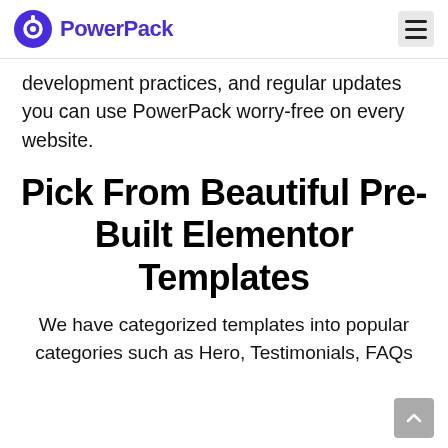PowerPack
development practices, and regular updates you can use PowerPack worry-free on every website.
Pick From Beautiful Pre-Built Elementor Templates
We have categorized templates into popular categories such as Hero, Testimonials, FAQs